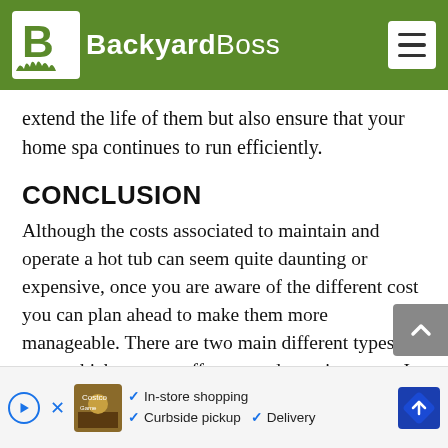BackyardBoss
extend the life of them but also ensure that your home spa continues to run efficiently.
CONCLUSION
Although the costs associated to maintain and operate a hot tub can seem quite daunting or expensive, once you are aware of the different cost you can plan ahead to make them more manageable. There are two main different types of costs which are one-off costs and ongoing costs. In this article we looked at some different ongoing and one-off costs that you can encounter. We hope this was helpful in providing you a better idea of the costs associated with running and running to make for